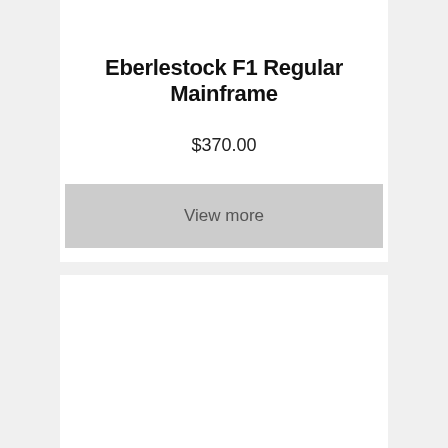Eberlestock F1 Regular Mainframe
$370.00
View more